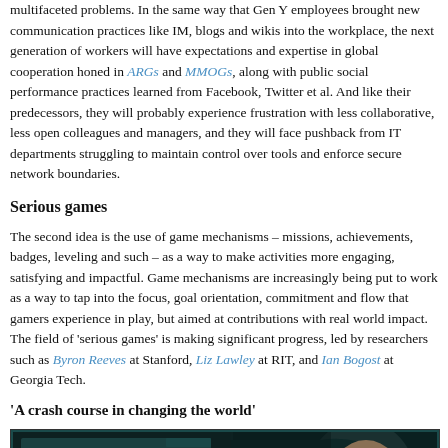multifaceted problems. In the same way that Gen Y employees brought new communication practices like IM, blogs and wikis into the workplace, the next generation of workers will have expectations and expertise in global cooperation honed in ARGs and MMOGs, along with public social performance practices learned from Facebook, Twitter et al. And like their predecessors, they will probably experience frustration with less collaborative, less open colleagues and managers, and they will face pushback from IT departments struggling to maintain control over tools and enforce secure network boundaries.
Serious games
The second idea is the use of game mechanisms – missions, achievements, badges, leveling and such – as a way to make activities more engaging, satisfying and impactful. Game mechanisms are increasingly being put to work as a way to tap into the focus, goal orientation, commitment and flow that gamers experience in play, but aimed at contributions with real world impact. The field of 'serious games' is making significant progress, led by researchers such as Byron Reeves at Stanford, Liz Lawley at RIT, and Ian Bogost at Georgia Tech.
‘A crash course in changing the world’
[Figure (illustration): Comic-style illustration of the EVOKE game interface showing a female character with 'EVOKE MEMBER' badge and another character on a dark teal/black background.]